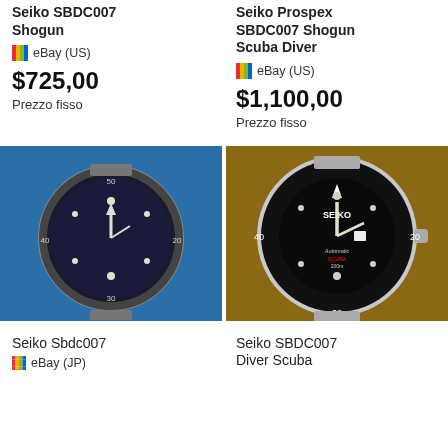Seiko SBDC007 Shogun
eBay (US)
$725,00
Prezzo fisso
Seiko Prospex SBDC007 Shogun Scuba Diver
eBay (US)
$1,100,00
Prezzo fisso
[Figure (photo): Seiko SBDC007 diver watch on blue background, showing dark blue dial with bezel markings]
[Figure (photo): Seiko SBDC007 Prospex diver watch on brown background, showing black dial with Automatic Scuba text and Seiko logo]
Seiko Sbdc007
eBay (JP)
Seiko SBDC007 Diver Scuba